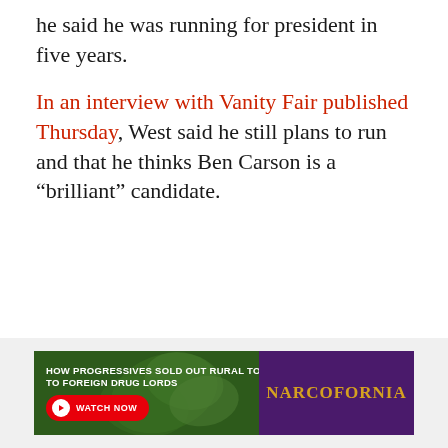he said he was running for president in five years.
In an interview with Vanity Fair published Thursday, West said he still plans to run and that he thinks Ben Carson is a “brilliant” candidate.
[Figure (other): Advertisement banner: 'HOW PROGRESSIVES SOLD OUT RURAL TOWNS TO FOREIGN DRUG LORDS' with WATCH NOW button and NARCOFORNIA logo on dark purple background with cannabis leaf imagery.]